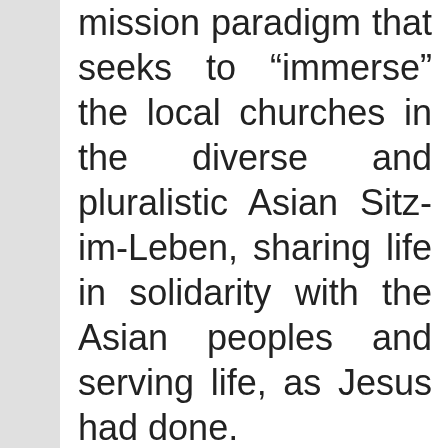mission paradigm that seeks to “immerse” the local churches in the diverse and pluralistic Asian Sitz-im-Leben, sharing life in solidarity with the Asian peoples and serving life, as Jesus had done.

In this way, “the focus of